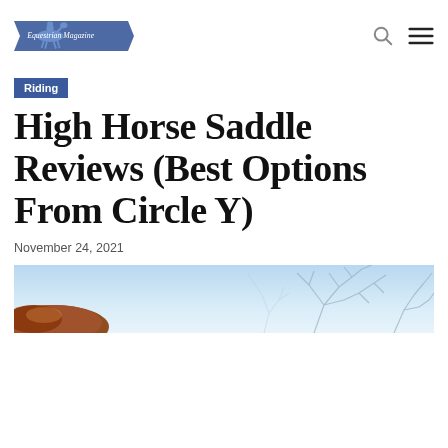Equestrian Magazine
Riding
High Horse Saddle Reviews (Best Options From Circle Y)
November 24, 2021
[Figure (photo): Partial view of a horse saddle with a light blue sky and bare winter tree branches in the background]